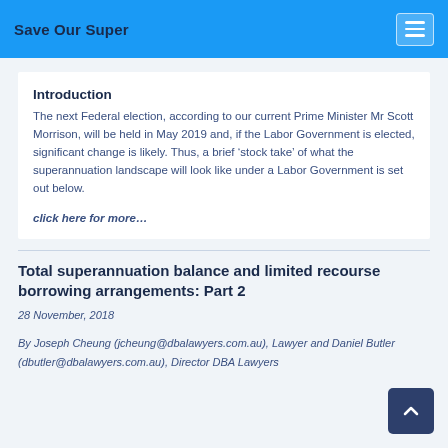Save Our Super
Introduction
The next Federal election, according to our current Prime Minister Mr Scott Morrison, will be held in May 2019 and, if the Labor Government is elected, significant change is likely. Thus, a brief ‘stock take’ of what the superannuation landscape will look like under a Labor Government is set out below.
click here for more…
Total superannuation balance and limited recourse borrowing arrangements: Part 2
28 November, 2018
By Joseph Cheung (jcheung@dbalawyers.com.au), Lawyer and Daniel Butler (dbutler@dbalawyers.com.au), Director DBA Lawyers